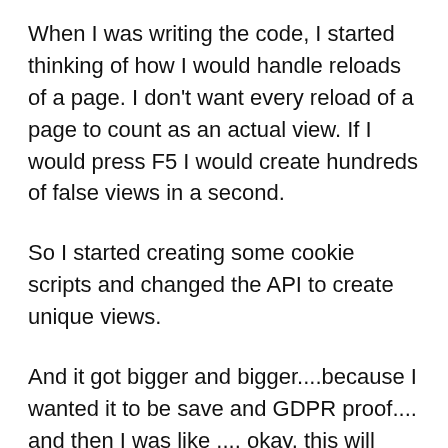When I was writing the code, I started thinking of how I would handle reloads of a page. I don't want every reload of a page to count as an actual view. If I would press F5 I would create hundreds of false views in a second.
So I started creating some cookie scripts and changed the API to create unique views.
And it got bigger and bigger....because I wanted it to be save and GDPR proof.... and then I was like .... okay, this will never go live, it's becoming to complicated. And then I had a revelation! Google Analytics! They already have unique page views. They have everything in place for GDPR